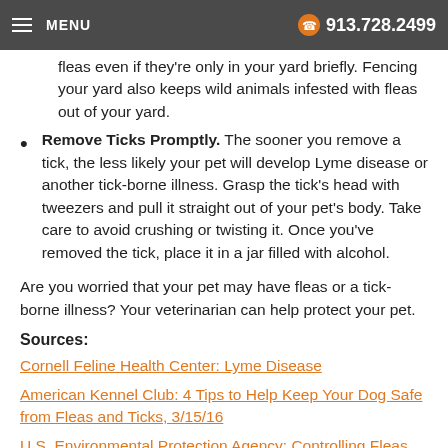MENU  913.728.2499
fleas even if they're only in your yard briefly. Fencing your yard also keeps wild animals infested with fleas out of your yard.
Remove Ticks Promptly. The sooner you remove a tick, the less likely your pet will develop Lyme disease or another tick-borne illness. Grasp the tick's head with tweezers and pull it straight out of your pet's body. Take care to avoid crushing or twisting it. Once you've removed the tick, place it in a jar filled with alcohol.
Are you worried that your pet may have fleas or a tick-borne illness? Your veterinarian can help protect your pet.
Sources:
Cornell Feline Health Center: Lyme Disease
American Kennel Club: 4 Tips to Help Keep Your Dog Safe from Fleas and Ticks, 3/15/16
U.S. Environmental Protection Agency: Controlling Fleas and Ticks on Your Pets